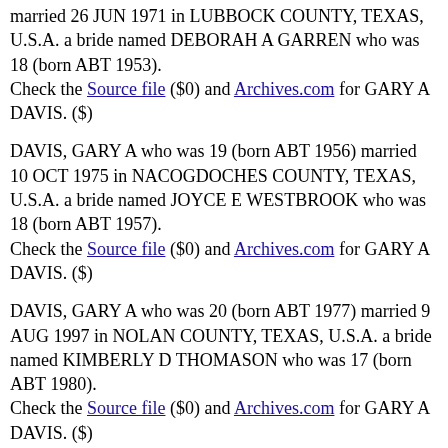married 26 JUN 1971 in LUBBOCK COUNTY, TEXAS, U.S.A. a bride named DEBORAH A GARREN who was 18 (born ABT 1953). Check the Source file ($0) and Archives.com for GARY A DAVIS. ($)
DAVIS, GARY A who was 19 (born ABT 1956) married 10 OCT 1975 in NACOGDOCHES COUNTY, TEXAS, U.S.A. a bride named JOYCE E WESTBROOK who was 18 (born ABT 1957). Check the Source file ($0) and Archives.com for GARY A DAVIS. ($)
DAVIS, GARY A who was 20 (born ABT 1977) married 9 AUG 1997 in NOLAN COUNTY, TEXAS, U.S.A. a bride named KIMBERLY D THOMASON who was 17 (born ABT 1980). Check the Source file ($0) and Archives.com for GARY A DAVIS. ($)
DAVIS, GARY A who was 23 (born ABT 1952)